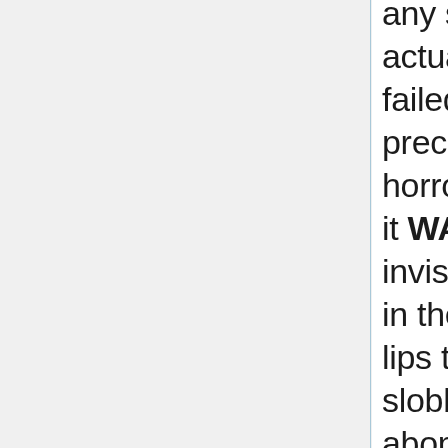any such visitation might actually occur, Nuttall had failed to take the traditional precaution of prisoning the horror in a pentagram. And it WAS a horror! A thing with invisible, evil eyes that saw in the dark, with mouths and lips that sucked and slobbered.... The abominable chittering grew louder still. It surrounded the circle completely now and, for the first time, the two conscious men clearly saw that which the single, tiny remaining flame held at bay. Creeping up on all sides, to the very line of the chalked circle, the Thing came: a glistening,